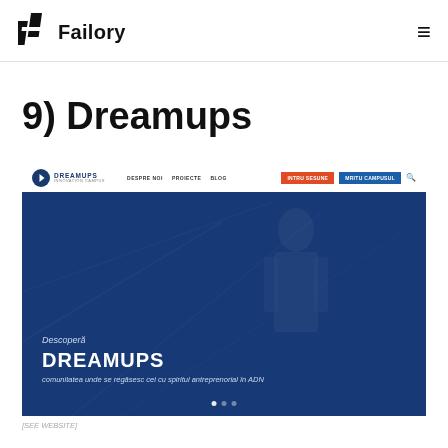Failory
9) Dreamups
[Figure (screenshot): Screenshot of the Dreamups Innovation Campus website showing navigation bar with logo, menu links (DESPRE NOI, PROIECTE, BLOG), orange and blue CTA buttons, and a hero section with dark blue overlay displaying 'Descoperă DREAMUPS comunitatea unde se regăsesc cei cu spiritul antreprenorial în ADN']
[SEE WEBSITE]
Dreamups Innovation Campus is a youth-